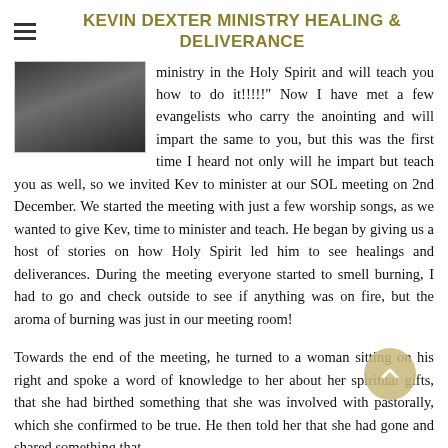KEVIN DEXTER MINISTRY HEALING & DELIVERANCE
[Figure (photo): A portrait photo of a person, partially visible, with dark tones.]
ministry in the Holy Spirit and will teach you how to do it!!!!!" Now I have met a few evangelists who carry the anointing and will impart the same to you, but this was the first time I heard not only will he impart but teach you as well, so we invited Kev to minister at our SOL meeting on 2nd December. We started the meeting with just a few worship songs, as we wanted to give Kev, time to minister and teach. He began by giving us a host of stories on how Holy Spirit led him to see healings and deliverances. During the meeting everyone started to smell burning, I had to go and check outside to see if anything was on fire, but the aroma of burning was just in our meeting room!
Towards the end of the meeting, he turned to a woman sitting on his right and spoke a word of knowledge to her about her spiritual gifts, that she had birthed something that she was involved with pastorally, which she confirmed to be true. He then told her that she had gone and shared something that...